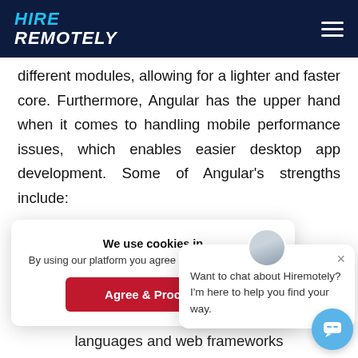HIRE REMOTELY
different modules, allowing for a lighter and faster core. Furthermore, Angular has the upper hand when it comes to handling mobile performance issues, which enables easier desktop app development. Some of Angular's strengths include:
We use cookies in
By using our platform you agree to our use of cookies.
Agree & Proceed
Want to chat about Hiremotely? I'm here to help you find your way.
languages and web frameworks